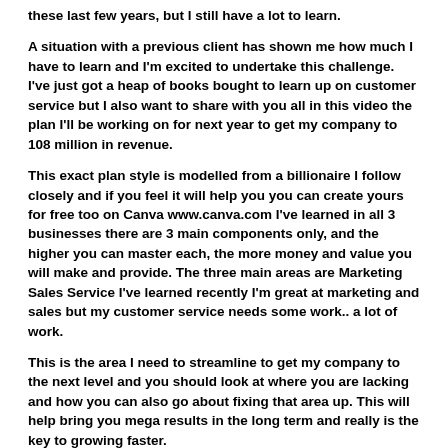these last few years, but I still have a lot to learn.
A situation with a previous client has shown me how much I have to learn and I'm excited to undertake this challenge. I've just got a heap of books bought to learn up on customer service but I also want to share with you all in this video the plan I'll be working on for next year to get my company to 108 million in revenue.
This exact plan style is modelled from a billionaire I follow closely and if you feel it will help you you can create yours for free too on Canva www.canva.com I've learned in all 3 businesses there are 3 main components only, and the higher you can master each, the more money and value you will make and provide. The three main areas are Marketing Sales Service I've learned recently I'm great at marketing and sales but my customer service needs some work.. a lot of work.
This is the area I need to streamline to get my company to the next level and you should look at where you are lacking and how you can also go about fixing that area up. This will help bring you mega results in the long term and really is the key to growing faster.